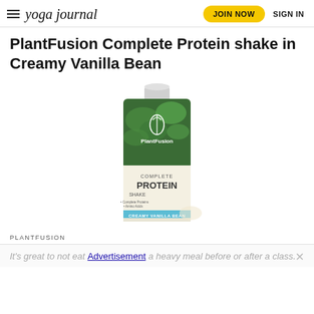yoga journal | JOIN NOW | SIGN IN
PlantFusion Complete Protein shake in Creamy Vanilla Bean
[Figure (photo): PlantFusion Complete Protein Shake in Creamy Vanilla Bean product package — a cream-colored Tetra Pak style carton with green vegetable imagery on the label, showing the PlantFusion logo and COMPLETE PROTEIN SHAKE text, with a teal 'CREAMY VANILLA BEAN' stripe at the bottom.]
PLANTFUSION
It's great to not eat a heavy meal before or after a class.